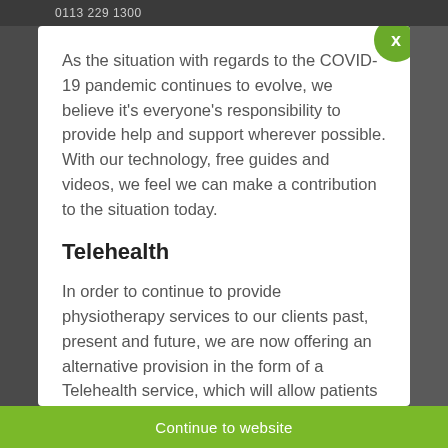0113 229 1300
As the situation with regards to the COVID-19 pandemic continues to evolve, we believe it's everyone's responsibility to provide help and support wherever possible. With our technology, free guides and videos, we feel we can make a contribution to the situation today.
Telehealth
In order to continue to provide physiotherapy services to our clients past, present and future, we are now offering an alternative provision in the form of a Telehealth service, which will allow patients to speak to senior physiotherapists for advice, motivation and recommendations of techniques to help
Continue to website